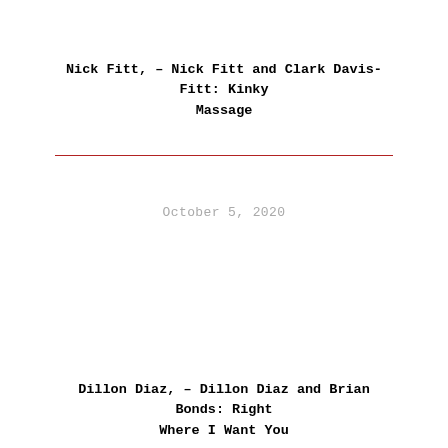Nick Fitt, – Nick Fitt and Clark Davis-Fitt: Kinky Massage
October 5, 2020
Dillon Diaz, – Dillon Diaz and Brian Bonds: Right Where I Want You